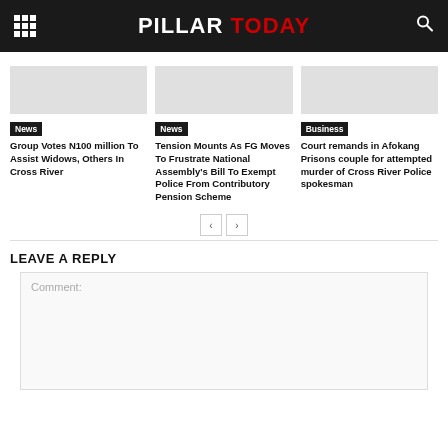PILLAR TODAY
News — Group Votes N100 million To Assist Widows, Others In Cross River
News — Tension Mounts As FG Moves To Frustrate National Assembly's Bill To Exempt Police From Contributory Pension Scheme
Business — Court remands in Afokang Prisons couple for attempted murder of Cross River Police spokesman
LEAVE A REPLY
Comment: